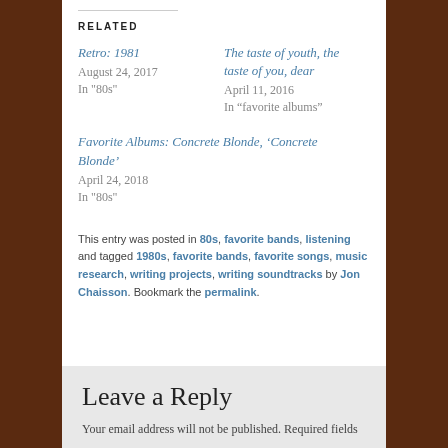RELATED
Retro: 1981
August 24, 2017
In "80s"
The taste of youth, the taste of you, dear
April 11, 2016
In “favorite albums”
Favorite Albums: Concrete Blonde, ‘Concrete Blonde’
April 24, 2018
In "80s"
This entry was posted in 80s, favorite bands, listening and tagged 1980s, favorite bands, favorite songs, music research, writing projects, writing soundtracks by Jon Chaisson. Bookmark the permalink.
Leave a Reply
Your email address will not be published. Required fields